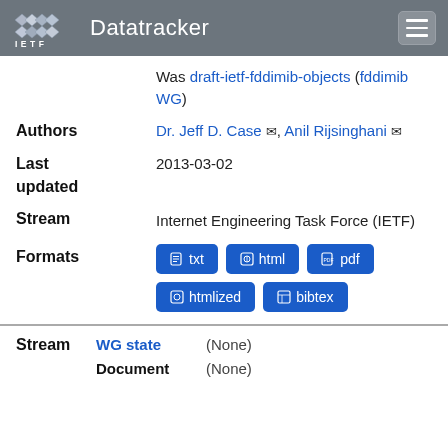IETF Datatracker
Was draft-ietf-fddimib-objects (fddimib WG)
Authors: Dr. Jeff D. Case, Anil Rijsinghani
Last updated: 2013-03-02
Stream: Internet Engineering Task Force (IETF)
Formats: txt, html, pdf, htmllized, bibtex
| Stream | WG state | (None) |
| --- | --- | --- |
|  | Document | (None) |
Stream: WG state (None)
Document (None)